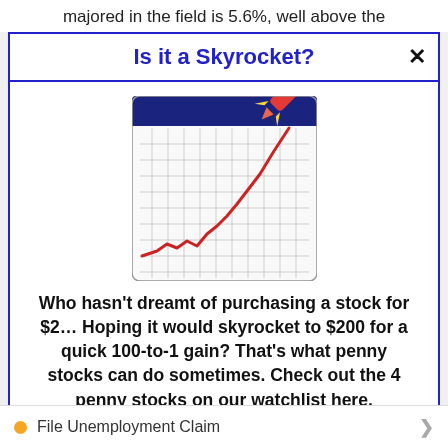majored in the field is 5.6%, well above the
Is it a Skyrocket?
[Figure (illustration): A line chart on a calendar/grid background with a red upward-trending line that shoots up and to the right like a rocket, with a red rocket ship image in the upper right corner.]
Who hasn't dreamt of purchasing a stock for $2… Hoping it would skyrocket to $200 for a quick 100-to-1 gain? That's what penny stocks can do sometimes. Check out the 4 penny stocks on our watchlist here.
>>> See The List <<<
File Unemployment Claim